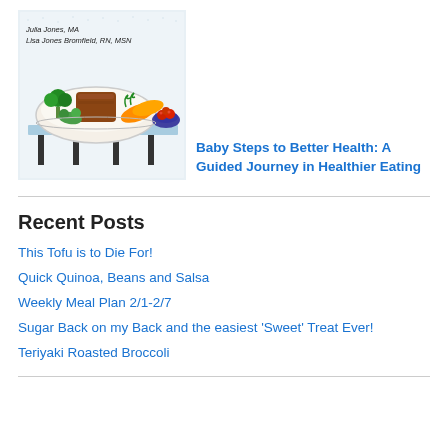[Figure (illustration): Book cover illustration showing vegetables (broccoli, carrots, tomatoes, green vegetables) on a plate on a table, with text 'Julia Jones, MA / Lisa Jones Bromfield, RN, MSN' at top. Hand-drawn style with blue background.]
Baby Steps to Better Health: A Guided Journey in Healthier Eating
Recent Posts
This Tofu is to Die For!
Quick Quinoa, Beans and Salsa
Weekly Meal Plan 2/1-2/7
Sugar Back on my Back and the easiest 'Sweet' Treat Ever!
Teriyaki Roasted Broccoli